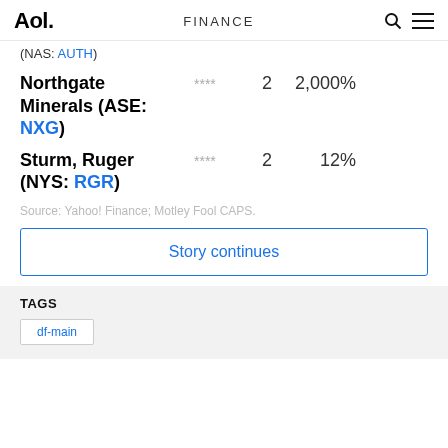Aol. FINANCE
(NAS: AUTH)
Northgate Minerals (ASE: NXG) **** 2 2,000%
Sturm, Ruger (NYS: RGR) **** 2 12%
Source: Yahoo! Finance; Motley Fool CAPS.
Story continues
TAGS
df-main